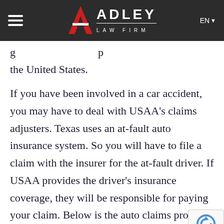Adley Law Firm — site header with navigation menu, logo, and EN language selector
g p the United States.
If you have been involved in a car accident, you may have to deal with USAA's claims adjusters. Texas uses an at-fault auto insurance system. So you will have to file a claim with the insurer for the at-fault driver. If USAA provides the driver's insurance coverage, they will be responsible for paying your claim. Below is the auto claims process in detail, along with hints of maximizing